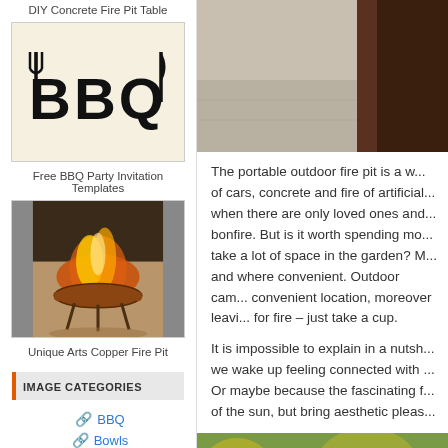DIY Concrete Fire Pit Table
[Figure (photo): BBQ Party Invitation Template - cream/tan background with fork, 'BBQ', and knife text in black]
Free BBQ Party Invitation Templates
[Figure (photo): Unique Arts Copper Fire Pit - a copper fire pit bowl on legs with a fire burning in sandy outdoor area]
Unique Arts Copper Fire Pit
IMAGE CATEGORIES
BBQ
Bowls
[Figure (photo): Partial top photo of outdoor scene, dark wood and light ground visible]
The portable outdoor fire pit is a w... of cars, concrete and fire of artificial... when there are only loved ones and... bonfire. But is it worth spending mo... take a lot of space in the garden? M... and where convenient. Outdoor cam... convenient location, moreover leavi... for fire – just take a cup.
It is impossible to explain in a nutsh... we wake up feeling connected with ... Or maybe because the fascinating f... of the sun, but bring aesthetic pleas...
[Figure (photo): Bottom photo partially visible - outdoor green/yellow scene]